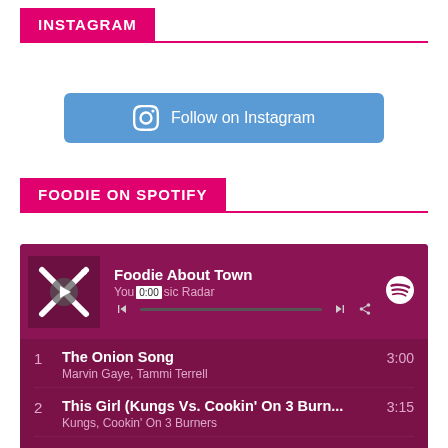INSTAGRAM
[Figure (other): Follow on Instagram button (blue rounded rectangle with Instagram icon)]
FOODIE ON SPOTIFY
[Figure (other): Spotify embedded playlist player showing 'Foodie About Town' with tracks: 1. The Onion Song - Marvin Gaye, Tammi Terrell (3:00); 2. This Girl (Kungs Vs. Cookin' On 3 Burn... - Kungs, Cookin' On 3 Burners (3:15); 3. Chocolate - The 1975 (3:44); 4. Strawberry Swing (4:00 partial)]